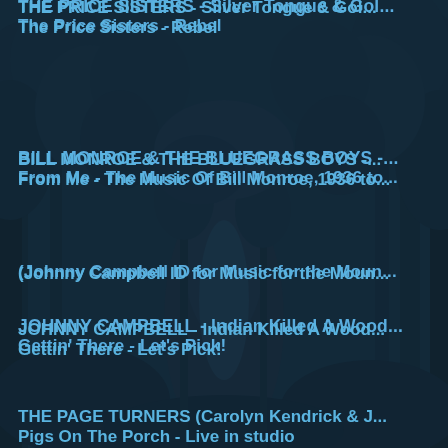THE PRICE SISTERS - Silver Tongue & Gold...
The Price Sisters - Rebel
BILL MONROE & THE BLUEGRASS BOYS - ...
From Me - The Music Of Bill Monroe, 1936 to...
(Johnny Campbell ID for Music for the Moun...
JOHNNY CAMPBELL - Indian Killed A Woode...
Gettin' There - Let's Pick!
THE PAGE TURNERS (Carolyn Kendrick & J...
Pigs On The Porch - Live in studio
THE PAGE TURNERS (Carolyn Kendrick & J...
Ruben's Train - Live in studio